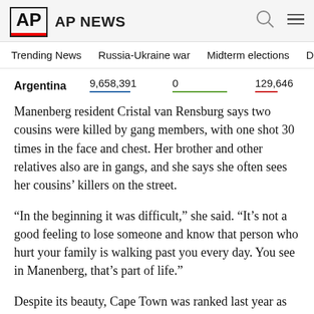AP AP NEWS
Trending News   Russia-Ukraine war   Midterm elections   Dona
Argentina   9,658,391   0   129,646
Manenberg resident Cristal van Rensburg says two cousins were killed by gang members, with one shot 30 times in the face and chest. Her brother and other relatives also are in gangs, and she says she often sees her cousins' killers on the street.
“In the beginning it was difficult,” she said. “It’s not a good feeling to lose someone and know that person who hurt your family is walking past you every day. You see in Manenberg, that’s part of life.”
Despite its beauty, Cape Town was ranked last year as